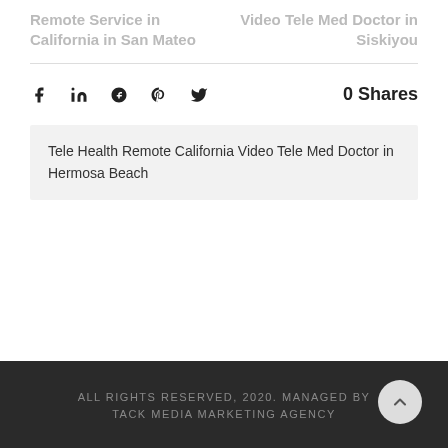Remote Service in California in San Mateo
Video Tele Med Doctor in Siskiyou
0  Shares
Tele Health Remote California Video Tele Med Doctor in Hermosa Beach
ALL RIGHTS RESERVED, 2020. MANAGED BY TACK MEDIA MARKETING AGENCY